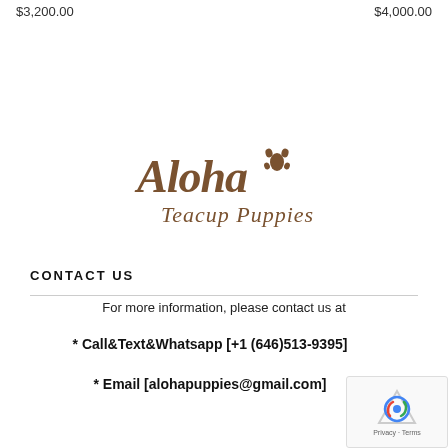$3,200.00   $4,000.00
[Figure (logo): Aloha Teacup Puppies logo in brown cursive/script font with a paw print icon]
CONTACT US
For more information, please contact us at
* Call&Text&Whatsapp [+1 (646)513-9395]
* Email [alohapuppies@gmail.com]